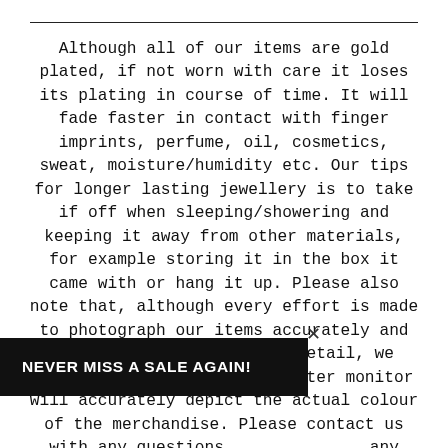Although all of our items are gold plated, if not worn with care it loses its plating in course of time. It will fade faster in contact with finger imprints, perfume, oil, cosmetics, sweat, moisture/humidity etc. Our tips for longer lasting jewellery is to take if off when sleeping/showering and keeping it away from other materials, for example storing it in the box it came with or hang it up. Please also note that, although every effort is made to photograph our items accurately and describe our products in detail, we cannot guarantee every computer monitor will accurately depict the actual colour of the merchandise. Please contact us with any questions [regarding] any item if you are unsure about this. Alternatively you may look at our instagram @dixiegraze for customer photos and
NEVER MISS A SALE AGAIN!